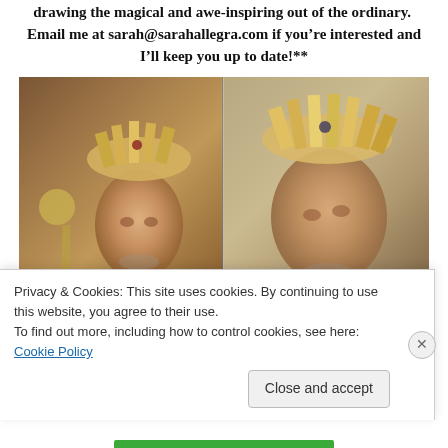drawing the magical and awe-inspiring out of the ordinary.  Email me at sarah@sarahallegra.com if you're interested and I'll keep you up to date!**
[Figure (photo): Two side-by-side photos of an older man wearing an elaborate golden crown/headdress made of straw-like material. Left photo shows him holding a golden staff, wearing ornate robes, looking forward. Right photo is a closer portrait angle looking slightly upward.]
Privacy & Cookies: This site uses cookies. By continuing to use this website, you agree to their use.
To find out more, including how to control cookies, see here: Cookie Policy
Close and accept